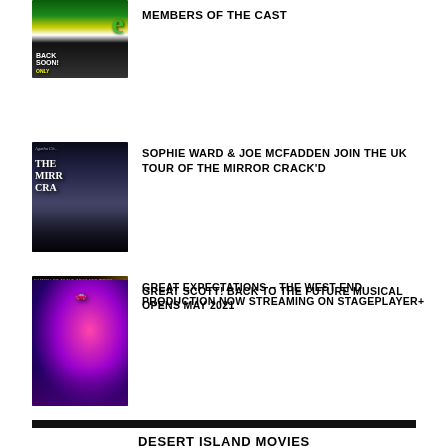[Figure (photo): Theatre show poster thumbnail - green and red colors, partial elf/theatre image]
MEMBERS OF THE CAST
[Figure (photo): Agatha Christie The Mirror Crack'd show poster - dark noir style with woman figure]
SOPHIE WARD & JOE MCFADDEN JOIN THE UK TOUR OF THE MIRROR CRACK'D
[Figure (photo): Great Expectations West End production poster - dark moody image]
GREAT EXPECTATIONS – THE WEST END PRODUCTION NOW STREAMING ON STAGEPLAYER+
[Figure (photo): Back to the Future Musical poster - colourful sci-fi imagery with DeLorean car]
GREAT SCOTT! BACK TO THE FUTURE MUSICAL OPENS MAY 2021
DESERT ISLAND MOVIES